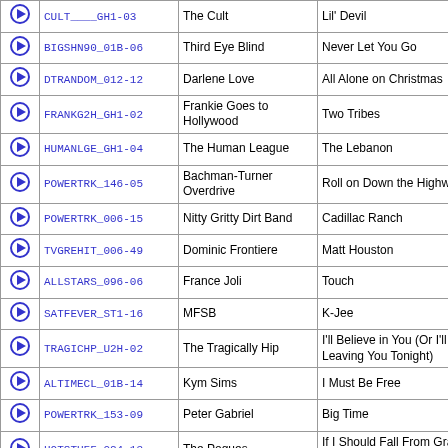|  | Code | Artist | Song |
| --- | --- | --- | --- |
| ▶ | CULT____GH1-03 | The Cult | Lil' Devil |
| ▶ | BIGSHN90_01B-06 | Third Eye Blind | Never Let You Go |
| ▶ | DTRANDOM_012-12 | Darlene Love | All Alone on Christmas |
| ▶ | FRANKG2H_GH1-02 | Frankie Goes to Hollywood | Two Tribes |
| ▶ | HUMANLGE_GH1-04 | The Human League | The Lebanon |
| ▶ | POWERTRK_146-05 | Bachman-Turner Overdrive | Roll on Down the Highway |
| ▶ | POWERTRK_006-15 | Nitty Gritty Dirt Band | Cadillac Ranch |
| ▶ | TVGREHIT_006-49 | Dominic Frontiere | Matt Houston |
| ▶ | ALLSTARS_096-06 | France Joli | Touch |
| ▶ | SATFEVER_ST1-16 | MFSB | K-Jee |
| ▶ | TRAGICHP_U2H-02 | The Tragically Hip | I'll Believe in You (Or I'll Be Leaving You Tonight) |
| ▶ | ALTIMECL_01B-14 | Kym Sims | I Must Be Free |
| ▶ | POWERTRK_153-09 | Peter Gabriel | Big Time |
| ▶ | HOTSTUFF_024-13 | The Pogues | If I Should Fall From Grace With God |
| ▶ | KYLIEMIN_STD-06 | Kylie Minogue | Turn It Into Love |
| ▶ | KIMMITCH_AKA-02 | Kim Mitchell | That's a Man |
| ▶ | BOSTON___GH1-09 | Boston | Party |
| ▶ | TRAGICHP_D4N-11 | The Tragically Hip | An Inch an Hour |
| ▶ | GUNSROSE_A4D-02 | Guns N' Roses | It's So Easy |
| ▶ | GARYGLTR_GH1-04 | Gary Glitter | The Wanderer |